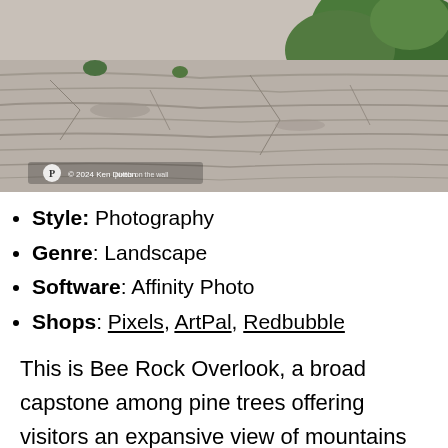[Figure (photo): Photograph of Bee Rock Overlook showing layered granite rock face with green pine trees visible at upper right. Watermark with photographer logo visible in lower left corner.]
Style: Photography
Genre: Landscape
Software: Affinity Photo
Shops: Pixels, ArtPal, Redbubble
This is Bee Rock Overlook, a broad capstone among pine trees offering visitors an expansive view of mountains and valleys of the Cumberland Plateau. It's located in Monterey, Tennessee